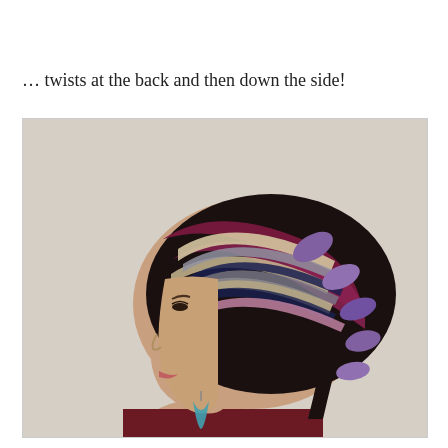… twists at the back and then down the side!
[Figure (photo): Side profile of a woman wearing a colorful striped head wrap/tichel with dark, burgundy, cream, and blue stripes, twisted at the back and down the side. She is wearing a turquoise teardrop earring and a dark burgundy top. The background is a light beige/cream wall.]